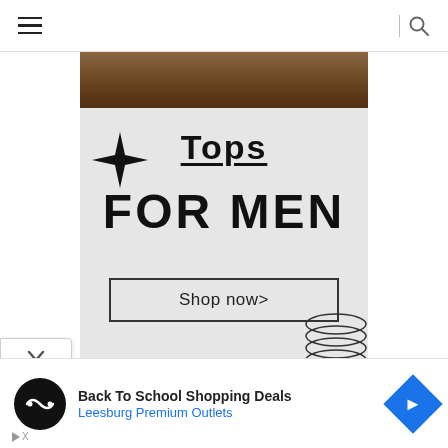[Figure (screenshot): Mobile browser navigation bar with hamburger menu icon on left and search icon on right]
[Figure (photo): Partial photo of a person wearing dark clothing against a dark wooden background, cropped at top]
[Figure (infographic): Advertisement banner on light grey background with 4-pointed star decoration, text 'Tops FOR MEN' and 'Shop now>' button, with coil spring decoration]
[Figure (photo): Jinro brand advertisement showing logo text and bottles on a blue background]
[Figure (infographic): Bottom advertisement for Back To School Shopping Deals at Leesburg Premium Outlets with logo icon and direction arrow]
Back To School Shopping Deals
Leesburg Premium Outlets